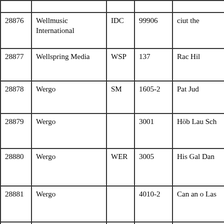| ID | Label | Code | Number | Description |
| --- | --- | --- | --- | --- |
|  |  |  |  |  |
| 28876 | Wellmusic International | IDC | 99906 | ciut the |
| 28877 | Wellspring Media | WSP | 137 | Rac Hil |
| 28878 | Wergo | SM | 1605-2 | Pat Jud |
| 28879 | Wergo |  | 3001 | Höb Lau Sch |
| 28880 | Wergo | WER | 3005 | His Gal Dan |
| 28881 | Wergo |  | 4010-2 | Can an o Las |
|  |  |  |  | Fre |